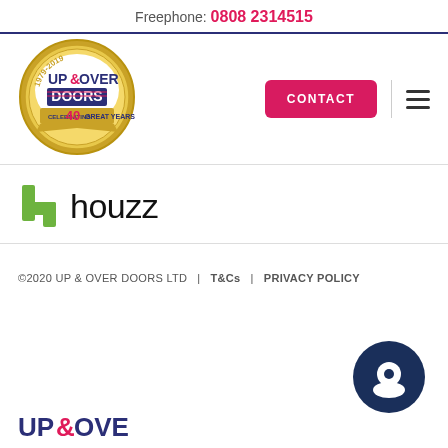Freephone: 0808 2314515
[Figure (logo): Up & Over Doors 40 years anniversary badge logo (1979-2019)]
[Figure (logo): Houzz logo with green h icon and black houzz text]
©2020 UP & OVER DOORS LTD | T&Cs | PRIVACY POLICY
[Figure (logo): Up & Over partial logo at bottom left]
[Figure (other): Dark navy chat/messaging bubble icon at bottom right]